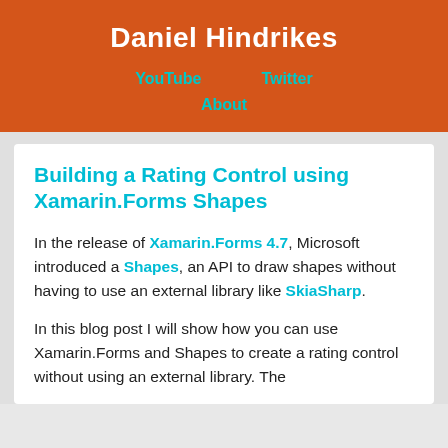Daniel Hindrikes
YouTube
Twitter
About
Building a Rating Control using Xamarin.Forms Shapes
In the release of Xamarin.Forms 4.7, Microsoft introduced a Shapes, an API to draw shapes without having to use an external library like SkiaSharp.
In this blog post I will show how you can use Xamarin.Forms and Shapes to create a rating control without using an external library. The